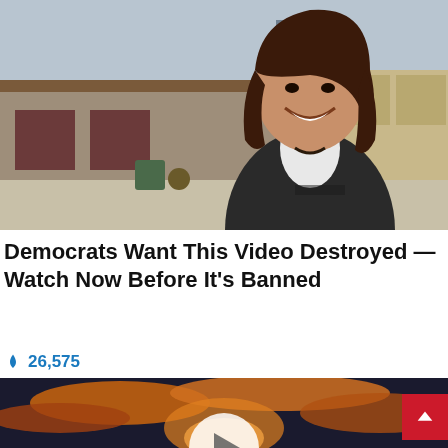[Figure (photo): Woman smiling in a dark jacket outdoors near an industrial building with a street lamp in the background]
Democrats Want This Video Destroyed — Watch Now Before It's Banned
🔥 26,575
[Figure (photo): Dramatic sunset sky with clouds illuminated in orange and gold, with a partially visible play button circle overlay]